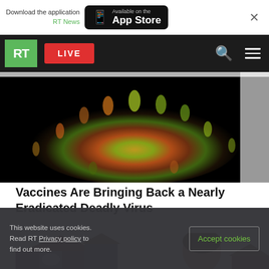Download the application RT News — Available on the App Store
[Figure (screenshot): RT News mobile app navigation bar with green RT logo, red LIVE button, search and menu icons]
[Figure (photo): Close-up of a coronavirus particle rendered in 3D against a black background, showing colorful spikes]
Vaccines Are Bringing Back a Nearly Eradicated Deadly Virus
[Figure (photo): Partial view of a person in front of residential houses]
This website uses cookies. Read RT Privacy policy to find out more.